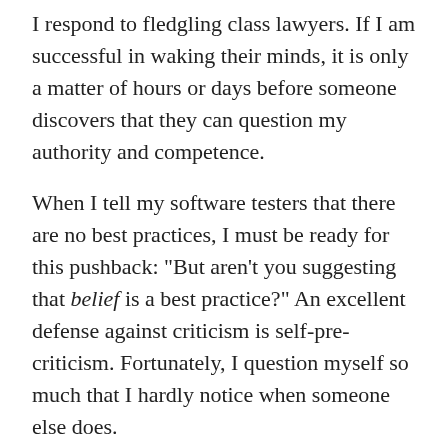I respond to fledgling class lawyers. If I am successful in waking their minds, it is only a matter of hours or days before someone discovers that they can question my authority and competence.
When I tell my software testers that there are no best practices, I must be ready for this pushback: "But aren't you suggesting that belief is a best practice?" An excellent defense against criticism is self-pre-criticism. Fortunately, I question myself so much that I hardly notice when someone else does.
I want you to notice the pattern I used in